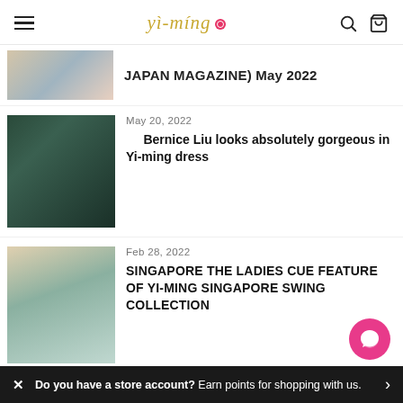yi-ming
JAPAN MAGAZINE) May 2022
May 20, 2022
Bernice Liu looks absolutely gorgeous in Yi-ming dress
Feb 28, 2022
SINGAPORE THE LADIES CUE FEATURE OF YI-MING SINGAPORE SWING COLLECTION
Feb 21, 2022
Do you have a store account? Earn points for shopping with us.